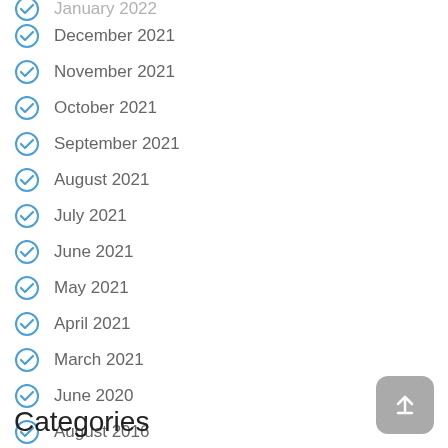January 2022
December 2021
November 2021
October 2021
September 2021
August 2021
July 2021
June 2021
May 2021
April 2021
March 2021
June 2020
August 2016
November 2015
June 2015
Categories